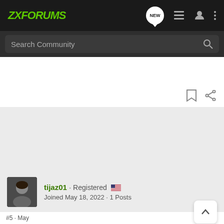ZXForums
Search Community
tijaz01 · Registered
Joined May 18, 2022 · 1 Posts
#5 · May
[Figure (screenshot): Suzuki GSX-S1000 GT advertisement banner with motorcycle image and 'SEE IT NOW' call to action]